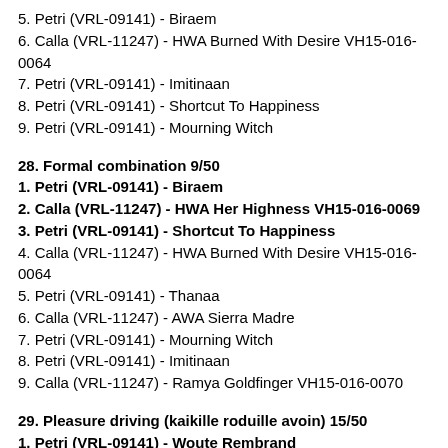5. Petri (VRL-09141) - Biraem
6. Calla (VRL-11247) - HWA Burned With Desire VH15-016-0064
7. Petri (VRL-09141) - Imitinaan
8. Petri (VRL-09141) - Shortcut To Happiness
9. Petri (VRL-09141) - Mourning Witch
28. Formal combination 9/50
1. Petri (VRL-09141) - Biraem
2. Calla (VRL-11247) - HWA Her Highness VH15-016-0069
3. Petri (VRL-09141) - Shortcut To Happiness
4. Calla (VRL-11247) - HWA Burned With Desire VH15-016-0064
5. Petri (VRL-09141) - Thanaa
6. Calla (VRL-11247) - AWA Sierra Madre
7. Petri (VRL-09141) - Mourning Witch
8. Petri (VRL-09141) - Imitinaan
9. Calla (VRL-11247) - Ramya Goldfinger VH15-016-0070
29. Pleasure driving (kaikille roduille avoin) 15/50
1. Petri (VRL-09141) - Woute Rembrand
2. Petri (VRL-09141) - Imagentrium IV